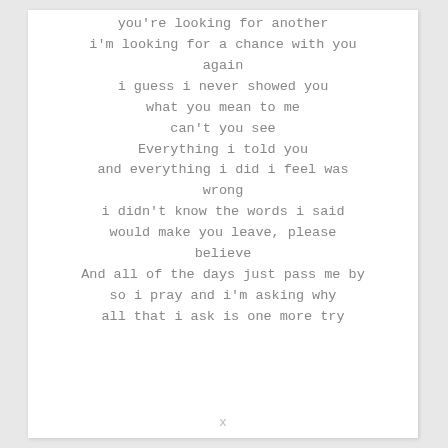you're looking for another
i'm looking for a chance with you
again
i guess i never showed you
what you mean to me
can't you see
Everything i told you
and everything i did i feel was
wrong
i didn't know the words i said
would make you leave, please
believe
And all of the days just pass me by
so i pray and i'm asking why
all that i ask is one more try